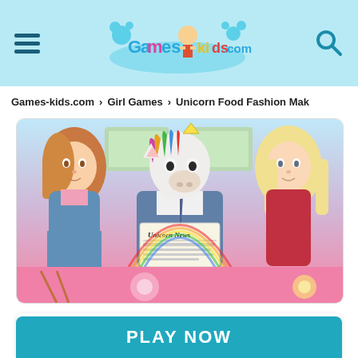Games-kids.com header with logo and navigation
Games-kids.com > Girl Games > Unicorn Food Fashion Mak
[Figure (screenshot): Game screenshot showing three characters: a girl with auburn hair on the left, a unicorn in a suit holding a newspaper reading 'Unicorn News' in the center, and a blonde girl in red on the right. Pink strip at the bottom with food items.]
Unicorn Food Fashion Maker
Added in 23.03.2022, played 891 times, voted 2 times
PLAY NOW